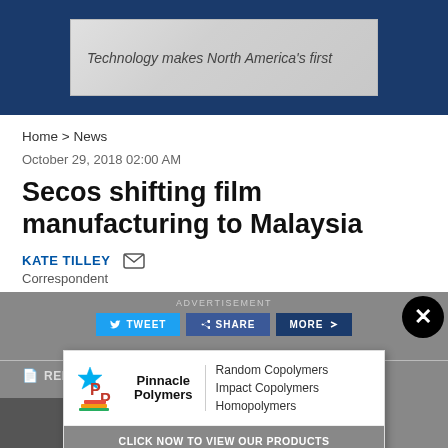[Figure (screenshot): Top blue banner with a gray advertisement box containing the text 'Technology makes North America's first']
Home > News
October 29, 2018 02:00 AM
Secos shifting film manufacturing to Malaysia
KATE TILLEY  [email icon]
Correspondent
[Figure (screenshot): Gray overlay area with ADVERTISEMENT label, social sharing buttons (TWEET, SHARE, MORE), a REPRINT bar, and partial image at bottom showing 'Secos' and 'st film' text. An overlapping Pinnacle Polymers popup ad appears with logo and product listings (Random Copolymers, Impact Copolymers, Homopolymers) with a 'CLICK NOW TO VIEW OUR PRODUCTS' button. A close (X) button is in the upper right corner.]